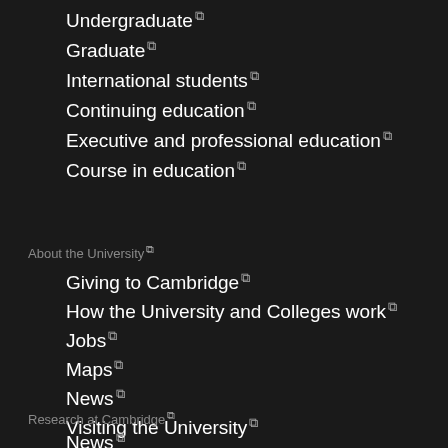Undergraduate
Graduate
International students
Continuing education
Executive and professional education
Course in education
About the University
Giving to Cambridge
How the University and Colleges work
Jobs
Maps
News
Visiting the University
Research at Cambridge
News